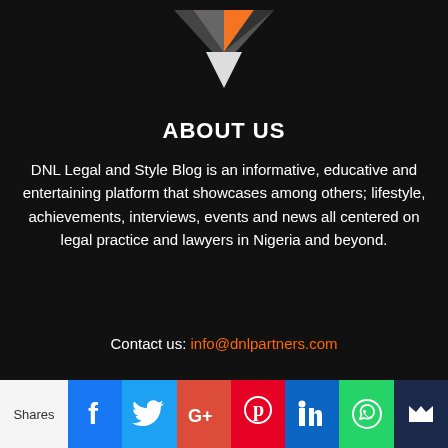[Figure (logo): DNL Legal and Style Blog logo — geometric diamond/chevron shape with orange and grey/white segments on dark background]
ABOUT US
DNL Legal and Style Blog is an informative, educative and entertaining platform that showcases among others; lifestyle, achievements, interviews, events and news all centered on legal practice and lawyers in Nigeria and beyond.
Contact us: info@dnlpartners.com
FOLLOW US
Shares | Facebook | Twitter | Google+ | Pinterest | LinkedIn | WhatsApp | Crown